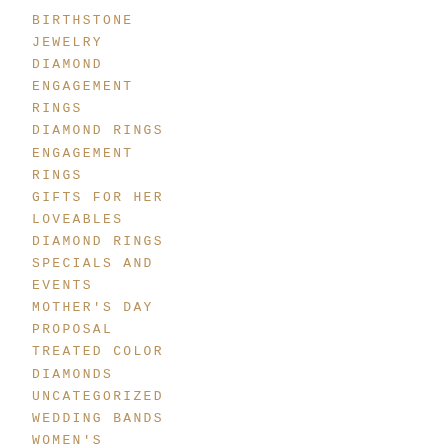BIRTHSTONE
JEWELRY
DIAMOND
ENGAGEMENT
RINGS
DIAMOND RINGS
ENGAGEMENT
RINGS
GIFTS FOR HER
LOVEABLES
DIAMOND RINGS
SPECIALS AND
EVENTS
MOTHER'S DAY
PROPOSAL
TREATED COLOR
DIAMONDS
UNCATEGORIZED
WEDDING BANDS
WOMEN'S